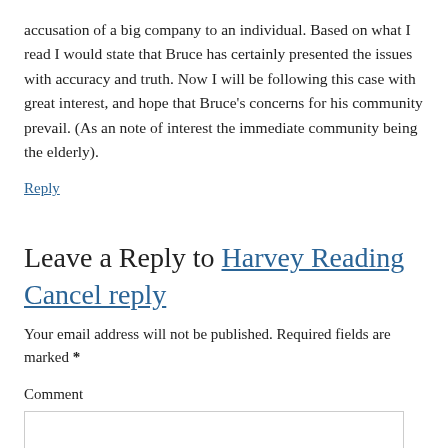accusation of a big company to an individual. Based on what I read I would state that Bruce has certainly presented the issues with accuracy and truth. Now I will be following this case with great interest, and hope that Bruce’s concerns for his community prevail. (As an note of interest the immediate community being the elderly).
Reply
Leave a Reply to Harvey Reading Cancel reply
Your email address will not be published. Required fields are marked *
Comment